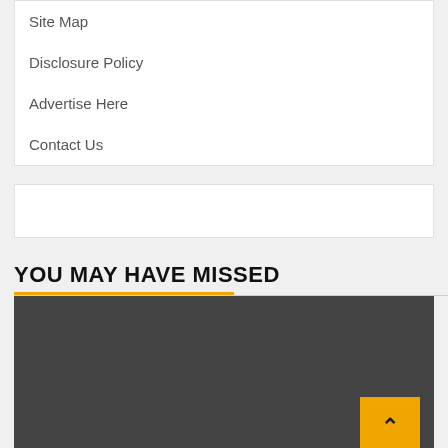Site Map
Disclosure Policy
Advertise Here
Contact Us
[Figure (other): Advertisement placeholder box]
YOU MAY HAVE MISSED
[Figure (other): Dark gray image placeholder with orange back-to-top button in bottom right corner containing a chevron/caret up arrow]